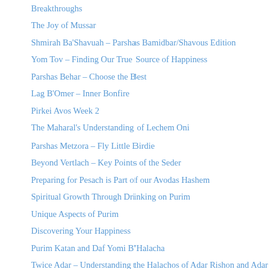Breakthroughs
The Joy of Mussar
Shmirah Ba'Shavuah – Parshas Bamidbar/Shavous Edition
Yom Tov – Finding Our True Source of Happiness
Parshas Behar – Choose the Best
Lag B'Omer – Inner Bonfire
Pirkei Avos Week 2
The Maharal's Understanding of Lechem Oni
Parshas Metzora – Fly Little Birdie
Beyond Vertlach – Key Points of the Seder
Preparing for Pesach is Part of our Avodas Hashem
Spiritual Growth Through Drinking on Purim
Unique Aspects of Purim
Discovering Your Happiness
Purim Katan and Daf Yomi B'Halacha
Twice Adar – Understanding the Halachos of Adar Rishon and Adar Sheini
Defining Happiness – Rav Itamar Schwartz (Bilvavi)